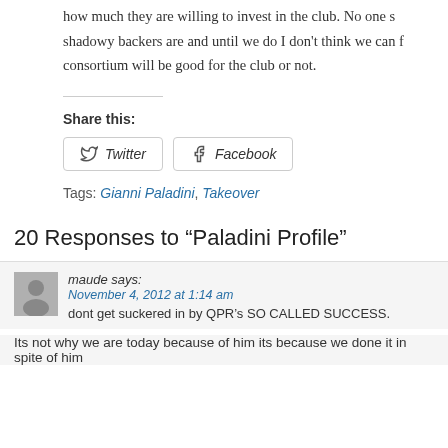how much they are willing to invest in the club. No one s shadowy backers are and until we do I don't think we can f consortium will be good for the club or not.
Share this:
Twitter   Facebook
Tags: Gianni Paladini, Takeover
20 Responses to “Paladini Profile”
maude says:
November 4, 2012 at 1:14 am
dont get suckered in by QPR’s SO CALLED SUCCESS.
Its not why we are today because of him its because we done it in spite of him